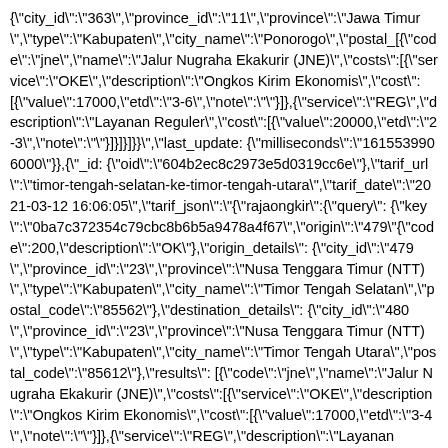{"city_id":"363","province_id":"11","province":"Jawa Timur","type":"Kabupaten","city_name":"Ponorogo","postal_[{"code":"jne","name":"Jalur Nugraha Ekakurir (JNE)","costs":[{"service":"OKE","description":"Ongkos Kirim Ekonomis","cost":[{"value":17000,"etd":"3-6","note":""}]},{"service":"REG","description":"Layanan Reguler","cost":[{"value":20000,"etd":"2-3","note":""}]}]}]}}","last_update":{"milliseconds":"1615539906000"}},{"_id":{"oid":"604b2ec8c2973e5d0319cc6e"},"tarif_url":"timor-tengah-selatan-ke-timor-tengah-utara","tarif_date":"2021-03-12 16:06:05","tarif_json":"{"rajaongkir":{"query":{"key":"0ba7c372354c79cbc8b6b5a9478a4f67","origin":"479"{"code":200,"description":"OK"},"origin_details":{"city_id":"479","province_id":"23","province":"Nusa Tenggara Timur (NTT)","type":"Kabupaten","city_name":"Timor Tengah Selatan","postal_code":"85562"},"destination_details":{"city_id":"480","province_id":"23","province":"Nusa Tenggara Timur (NTT)","type":"Kabupaten","city_name":"Timor Tengah Utara","postal_code":"85612"},"results":[{"code":"jne","name":"Jalur Nugraha Ekakurir (JNE)","costs":[{"service":"OKE","description":"Ongkos Kirim Ekonomis","cost":[{"value":17000,"etd":"3-4","note":""}]},{"service":"REG","description":"Layanan